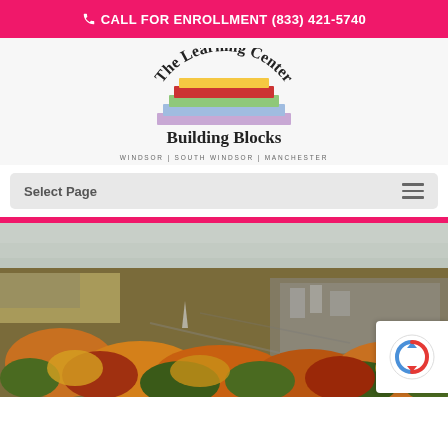CALL FOR ENROLLMENT (833) 421-5740
[Figure (logo): The Learning Center Building Blocks logo with colorful books stacked, arched text reading 'The Learning Center' on top and 'Building Blocks' below]
WINDSOR | SOUTH WINDSOR | MANCHESTER
Select Page
[Figure (photo): Aerial view of a town with autumn foliage — orange, red, and green trees covering a suburban landscape with buildings and roads visible]